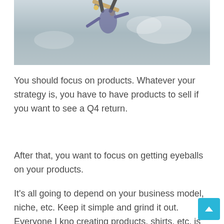[Figure (photo): Skateboarder upside down in mid-air against a cloudy sky background]
You should focus on products. Whatever your strategy is, you have to have products to sell if you want to see a Q4 return.
After that, you want to focus on getting eyeballs on your products.
It’s all going to depend on your business model, niche, etc. Keep it simple and grind it out. Everyone I kno creating products, shirts, etc. is in “upload like a